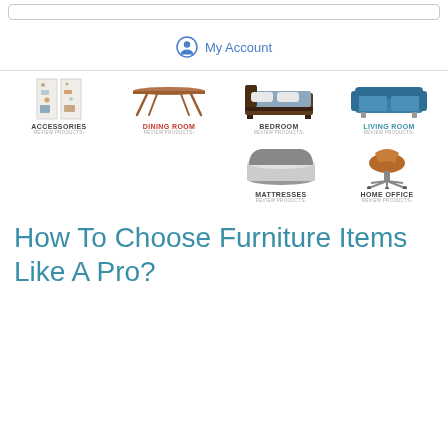[Figure (screenshot): Navigation bar with My Account link and user icon]
[Figure (infographic): Furniture category grid showing: Accessories (decorative panel image), Dining Room (wooden table), Bedroom (platform bed), Living Room (blue sofa), Mattresses (mattress), Home Office (brown office chair). Each with category name and REVIEW PRODUCTS link.]
How To Choose Furniture Items Like A Pro?